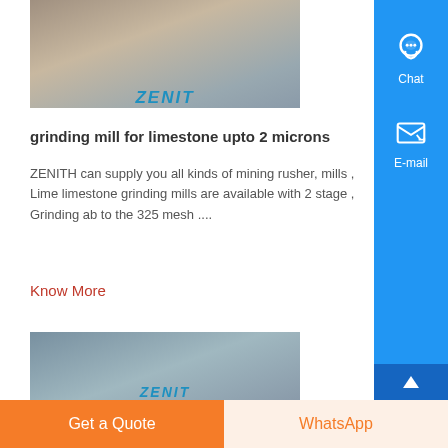[Figure (photo): Industrial facility with ZENIT logo - top image showing factory/mining equipment]
grinding mill for limestone upto 2 microns
ZENITH can supply you all kinds of mining rusher, mills , Lime limestone grinding mills are available with 2 stage , Grinding ab to the 325 mesh ....
Know More
[Figure (photo): Outdoor industrial/mining site with ZENIT logo - aerial or landscape view]
Get a Quote
WhatsApp